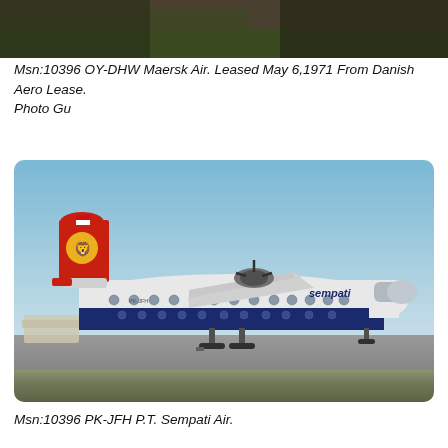[Figure (photo): Partial view of an aircraft on the ground, cropped at top of page]
Msn:10396 OY-DHW Maersk Air. Leased May 6,1971 From Danish Aero Lease.
Photo Gu
[Figure (photo): A Sempati Air Fokker turboprop aircraft (PK-JFH) with red tail featuring a yellow lion logo, white upper fuselage, dark blue lower fuselage, parked on tarmac. The aircraft registration is visible on the fuselage. Blue sky background.]
Msn:10396 PK-JFH P.T. Sempati Air.